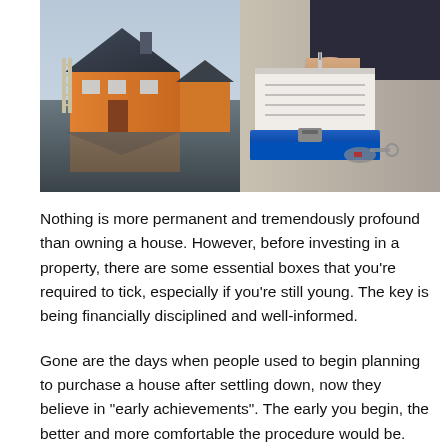[Figure (photo): A miniature house model on a reflective surface on the left, and a person in a suit writing on a clipboard with a blue folder on the right, suggesting a real estate or property investment scenario.]
Nothing is more permanent and tremendously profound than owning a house. However, before investing in a property, there are some essential boxes that you're required to tick, especially if you're still young. The key is being financially disciplined and well-informed.
Gone are the days when people used to begin planning to purchase a house after settling down, now they believe in "early achievements". The early you begin, the better and more comfortable the procedure would be. Nevertheless,